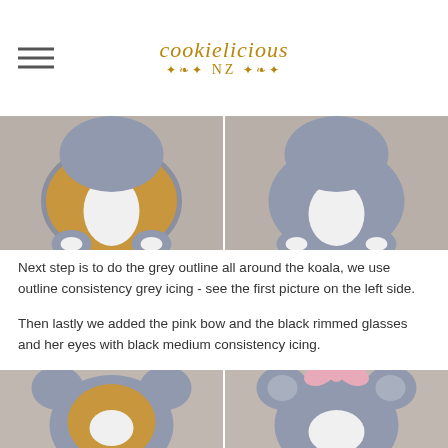cookielicious NZ
[Figure (photo): Two side-by-side photos of koala-shaped decorated cookies showing the body/belly area. Left cookie has tan/orange coloring with grey outline and white belly. Right cookie is fully grey with white belly area, showing outline stage.]
Next step is to do the grey outline all around the koala, we use outline consistency grey icing - see the first picture on the left side.
Then lastly we added the pink bow and the black rimmed glasses and her eyes with black medium consistency icing.
[Figure (photo): Two side-by-side photos of koala-shaped decorated cookies showing the head/face area. Left cookie has tan/orange coloring with grey ears and face. Right cookie is fully grey with a pink bow on top.]